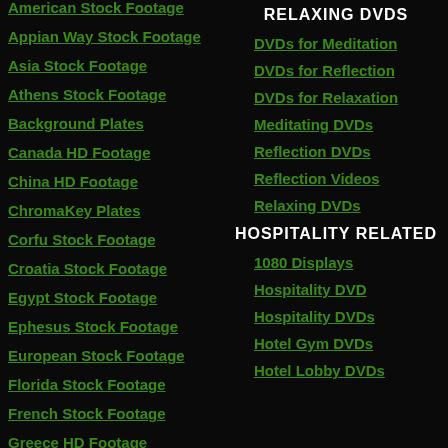American Stock Footage
Appian Way Stock Footage
Asia Stock Footage
Athens Stock Footage
Background Plates
Canada HD Footage
China HD Footage
ChromaKey Plates
Corfu Stock Footage
Croatia Stock Footage
Egypt Stock Footage
Ephesus Stock Footage
European Stock Footage
Florida Stock Footage
French Stock Footage
Greece HD Footage
RELAXING DVDS
DVDs for Meditation
DVDs for Reflection
DVDs for Relaxation
Meditating DVDs
Reflection DVDs
Reflection Videos
Relaxing DVDs
HOSPITALITY RELATED
1080 Displays
Hospitality DVD
Hospitality DVDs
Hotel Gym DVDs
Hotel Lobby DVDs